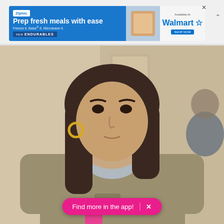[Figure (screenshot): Advertisement banner for Ziploc Endurables. Left side is blue with Ziploc logo, headline 'Prep fresh meals with ease', subline 'Freeze it. Bake it. Microwave it.', and 'NEW ENDURABLES' label. Right side shows 'Available At Walmart' with Walmart logo and 'SHOP NOW' button.]
[Figure (photo): A woman wearing a tan/olive prison uniform with a gray undershirt and gold hoop earrings. She has long dark hair and is looking forward with a serious expression. She appears to be in an indoor institutional setting. A pink pill bottle is partially visible at the bottom. Another person is partially visible in the background at right.]
Find more in the app!  ×